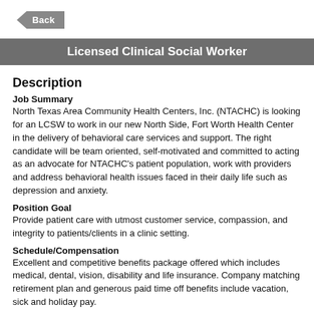Back
Licensed Clinical Social Worker
Description
Job Summary
North Texas Area Community Health Centers, Inc. (NTACHC) is looking for an LCSW to work in our new North Side, Fort Worth Health Center in the delivery of behavioral care services and support. The right candidate will be team oriented, self-motivated and committed to acting as an advocate for NTACHC's patient population, work with providers and address behavioral health issues faced in their daily life such as depression and anxiety.
Position Goal
Provide patient care with utmost customer service, compassion, and integrity to patients/clients in a clinic setting.
Schedule/Compensation
Excellent and competitive benefits package offered which includes medical, dental, vision, disability and life insurance. Company matching retirement plan and generous paid time off benefits include vacation, sick and holiday pay.
Responsibilities
Consults with patient and primary care provider about behavioral treatment options and preferences; coordinates initiation of treatment plan, identifies possible barriers to